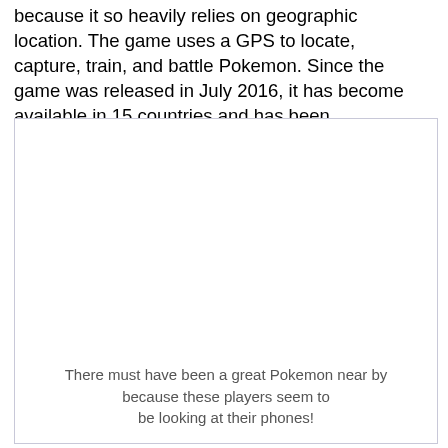because it so heavily relies on geographic location. The game uses a GPS to locate, capture, train, and battle Pokemon. Since the game was released in July 2016, it has become available in 15 countries and has been downloaded over 750 million times!
[Figure (photo): A white/blank image placeholder with a caption below reading: There must have been a great Pokemon near by because these players seem to be looking at their phones!]
There must have been a great Pokemon near by because these players seem to be looking at their phones!